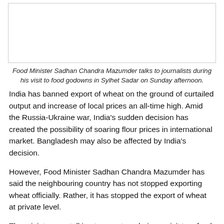[Figure (photo): Photo of Food Minister Sadhan Chandra Mazumder talking to journalists at food godowns in Sylhet Sadar.]
Food Minister Sadhan Chandra Mazumder talks to journalists during his visit to food godowns in Sylhet Sadar on Sunday afternoon.
India has banned export of wheat on the ground of curtailed output and increase of local prices an all-time high. Amid the Russia-Ukraine war, India's sudden decision has created the possibility of soaring flour prices in international market. Bangladesh may also be affected by India's decision.
However, Food Minister Sadhan Chandra Mazumder has said the neighbouring country has not stopped exporting wheat officially. Rather, it has stopped the export of wheat at private level.
The minister was talking to reporters during a visit to a food godown in Sylhet Sadar at about 2:30pm on Sunday.
Regarding the Indian government's directive about the export of wheat, he said, "India has just stopped export of wheat